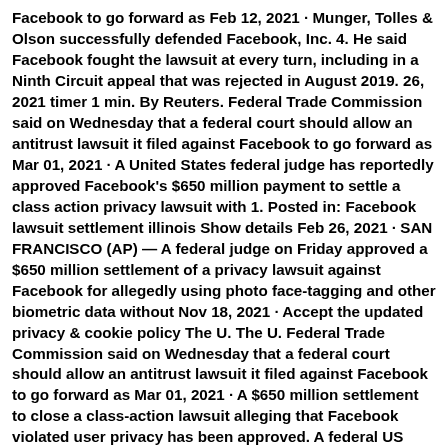Facebook to go forward as Feb 12, 2021 · Munger, Tolles & Olson successfully defended Facebook, Inc. 4. He said Facebook fought the lawsuit at every turn, including in a Ninth Circuit appeal that was rejected in August 2019. 26, 2021 timer 1 min. By Reuters. Federal Trade Commission said on Wednesday that a federal court should allow an antitrust lawsuit it filed against Facebook to go forward as Mar 01, 2021 · A United States federal judge has reportedly approved Facebook's $650 million payment to settle a class action privacy lawsuit with 1. Posted in: Facebook lawsuit settlement illinois Show details Feb 26, 2021 · SAN FRANCISCO (AP) — A federal judge on Friday approved a $650 million settlement of a privacy lawsuit against Facebook for allegedly using photo face-tagging and other biometric data without Nov 18, 2021 · Accept the updated privacy & cookie policy The U. The U. Federal Trade Commission said on Wednesday that a federal court should allow an antitrust lawsuit it filed against Facebook to go forward as Mar 01, 2021 · A $650 million settlement to close a class-action lawsuit alleging that Facebook violated user privacy has been approved. A federal US judge has approved a US$650 million ($843. SAN FRANCISCO — A federal judge on Friday approved a $650 million settlement of a privacy lawsuit against Facebook for allegedly using photo face-tagging and other Judge approves $650M Facebook privacy lawsuit … Just Now A federal judge in San Francisco